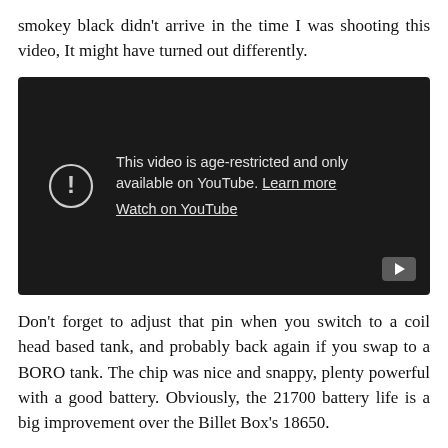smokey black didn't arrive in the time I was shooting this video, It might have turned out differently.
[Figure (screenshot): Embedded YouTube video player showing age-restricted content message. Dark background with warning icon, text reading 'This video is age-restricted and only available on YouTube. Learn more' and 'Watch on YouTube' link, with a YouTube play button in the bottom right corner.]
Don't forget to adjust that pin when you switch to a coil head based tank, and probably back again if you swap to a BORO tank. The chip was nice and snappy, plenty powerful with a good battery. Obviously, the 21700 battery life is a big improvement over the Billet Box's 18650.